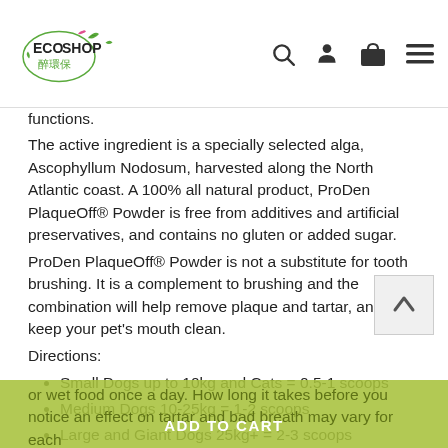Eco Shop 醉環保 [navigation icons: search, account, cart, menu]
functions.
The active ingredient is a specially selected alga, Ascophyllum Nodosum, harvested along the North Atlantic coast. A 100% all natural product, ProDen PlaqueOff® Powder is free from additives and artificial preservatives, and contains no gluten or added sugar.
ProDen PlaqueOff® Powder is not a substitute for tooth brushing. It is a complement to brushing and the combination will help remove plaque and tartar, and keep your pet's mouth clean.
Directions:
Small Dogs up to 10kg and Cats = 0.5-1 scoops
Medium Dogs 10-25kg = 1-2 scoops
Large and Giant Dogs 25kg+ = 2-3 scoops
Start with a smaller quantity to get your pet accustomed to the taste, then increase to the recommended amount. Sprinkle the product on top of the food or mix it with the dry or wet food once a day. How long it takes before you notice an effect on tartar and bad breath may vary for each
ADD TO CART